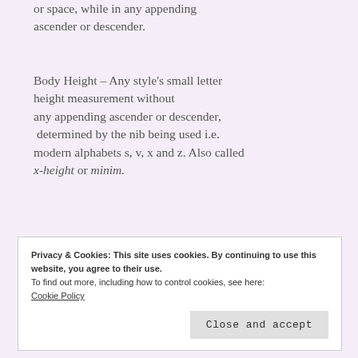or space, while in any appending ascender or descender.
Body Height – Any style's small letter height measurement without any appending ascender or descender, determined by the nib being used i.e. modern alphabets s, v, x and z. Also called x-height or minim.
Calligrapher – The artisan who pens the letters of a
Privacy & Cookies: This site uses cookies. By continuing to use this website, you agree to their use.
To find out more, including how to control cookies, see here:
Cookie Policy

Close and accept
Cartridge Pen – A calligraphy pen which